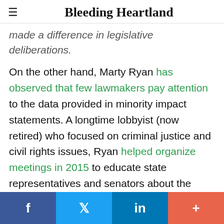Bleeding Heartland
made a difference in legislative deliberations.
On the other hand, Marty Ryan has observed that few lawmakers pay attention to the data provided in minority impact statements. A longtime lobbyist (now retired) who focused on criminal justice and civil rights issues, Ryan helped organize meetings in 2015 to educate state representatives and senators about the
f  Twitter  in  +